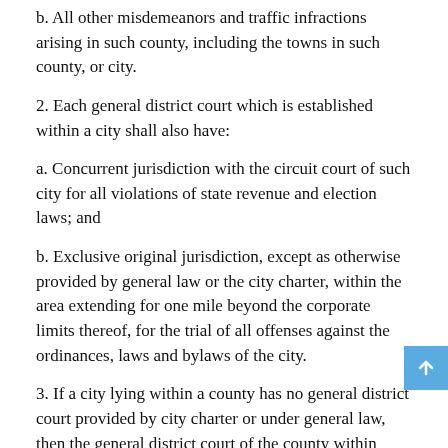b. All other misdemeanors and traffic infractions arising in such county, including the towns in such county, or city.
2. Each general district court which is established within a city shall also have:
a. Concurrent jurisdiction with the circuit court of such city for all violations of state revenue and election laws; and
b. Exclusive original jurisdiction, except as otherwise provided by general law or the city charter, within the area extending for one mile beyond the corporate limits thereof, for the trial of all offenses against the ordinances, laws and bylaws of the city.
3. If a city lying within a county has no general district court provided by city charter or under general law, then the general district court of the county within which such city lies shall have the same jurisdiction in such city as a general district court established for a city would have.